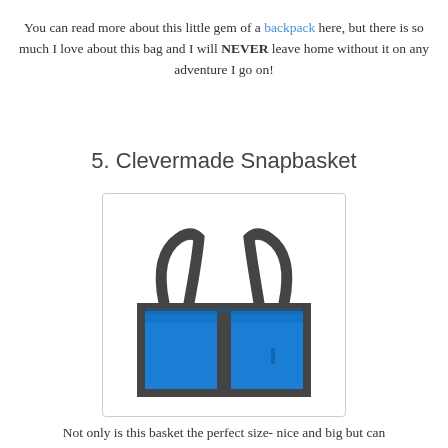You can read more about this little gem of a backpack here, but there is so much I love about this bag and I will NEVER leave home without it on any adventure I go on!
5. Clevermade Snapbasket
[Figure (photo): A bright blue Clevermade Snapbasket tote/basket bag with dark gray handles and trim, open top, rectangular shape, photographed on a white background.]
Not only is this basket the perfect size- nice and big but can